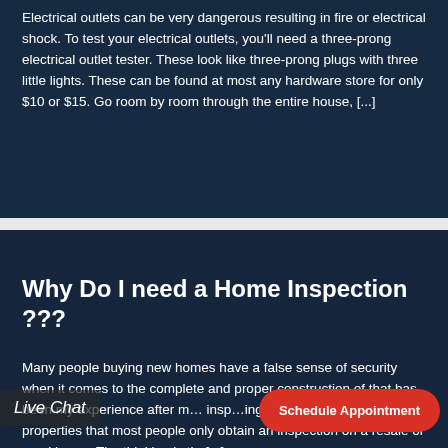Electrical outlets can be very dangerous resulting in fire or electrical shock. To test your electrical outlets, you'll need a three-prong electrical outlet tester. These look like three-prong plugs with three little lights. These can be found at most any hardware store for only $10 or $15. Go room by room through the entire house, [...]
READ MORE
Why Do I need a Home Inspection ???
Many people buying new homes have a false sense of security when it comes to the complete and proper construction of that has been my experience after m... insp...ing both new and resale properties that most people only obtain an inspection on a resale or used home. The thinking is tha[...]
Live Chat
Schedule Appointment